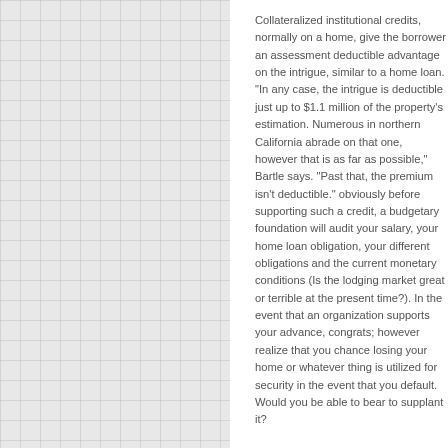Collateralized institutional credits, normally on a home, give the borrower an assessment deductible advantage on the intrigue, similar to a home loan. "In any case, the intrigue is deductible just up to $1.1 million of the property's estimation. Numerous in northern California abrade on that one, however that is as far as possible," Bartle says. "Past that, the premium isn't deductible." obviously before supporting such a credit, a budgetary foundation will audit your salary, your home loan obligation, your different obligations and the current monetary conditions (Is the lodging market great or terrible at the present time?). In the event that an organization supports your advance, congrats; however realize that you chance losing your home or whatever thing is utilized for security in the event that you default. Would you be able to bear to supplant it?